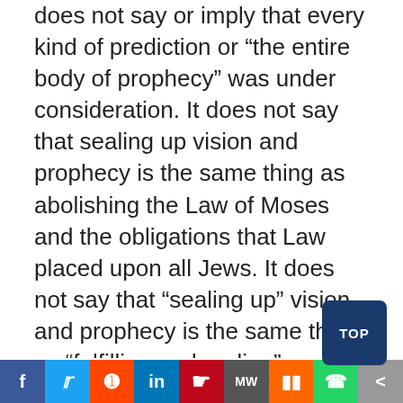does not say or imply that every kind of prediction or “the entire body of prophecy” was under consideration. It does not say that sealing up vision and prophecy is the same thing as abolishing the Law of Moses and the obligations that Law placed upon all Jews. It does not say that “sealing up” vision and prophecy is the same thing as “fulfilling and ending” obligation to keep the Law. It does not say that sealing up vision and prophecy means “fulfilling all vision and prophecy” regarding other matters besides the issue of the coming fall of Jerusalem. The Law Jesus was speaking of was law obligation upon man (Matt.5:[17-20]).
[Figure (other): Social sharing bar with icons: Facebook, Twitter, Reddit, LinkedIn, Pinterest, MeWe, Mix, WhatsApp, Share]